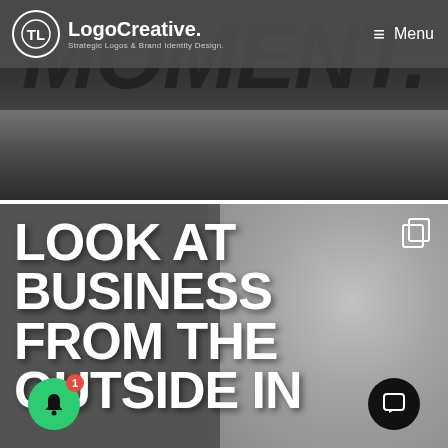[Figure (screenshot): Top section of a website showing the word MOMENT. in large dark bold italic text against a dark/grey background with rocks, with a navigation bar overlaid showing Logo Creative logo and Menu button]
[Figure (screenshot): Bottom section of a website article card showing bold white text LOOK AT BUSINESS FROM THE OUTSIDE IN on a dark grey background with a close-up eye photo, with a copy icon, notification bell button with badge 1, and chat button]